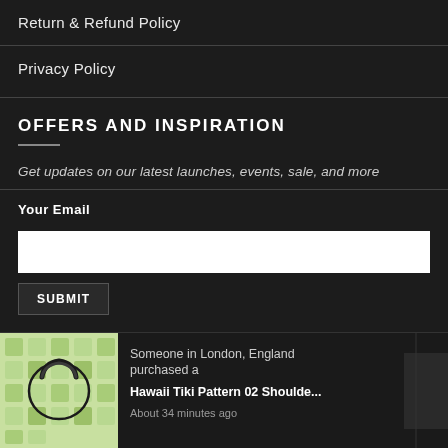Return & Refund Policy
Privacy Policy
OFFERS AND INSPIRATION
Get updates on our latest launches, events, sale, and more
Your Email
[Figure (screenshot): White email input text field]
SUBMIT
Someone in London, England purchased a
Hawaii Tiki Pattern 02 Shoulde...
About 34 minutes ago